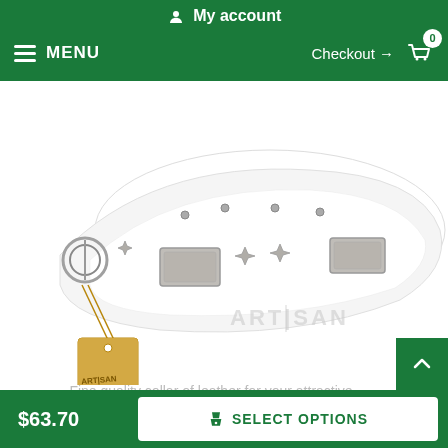My account
MENU  Checkout → 0
[Figure (photo): White leather dog collar with silver star studs and rectangular metal plates, with an Artisan branded cardboard tag hanging from the buckle. Artisan watermark visible in the lower right of the product image.]
Fine quality collar of leather for your attractive canine
$63.70  SELECT OPTIONS